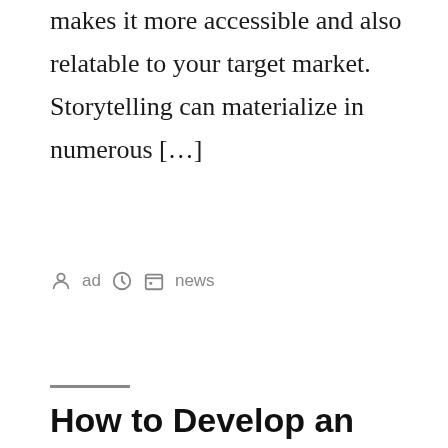makes it more accessible and also relatable to your target market. Storytelling can materialize in numerous […]
by ad  news
How to Develop an Impactful Brand…